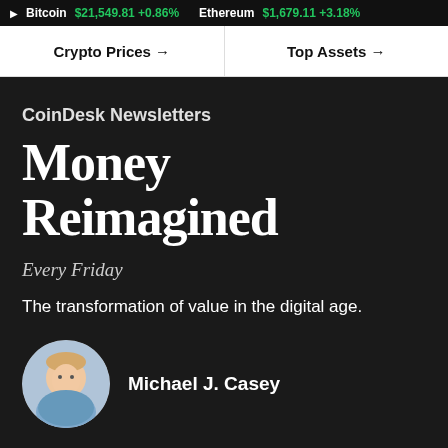Bitcoin $21,549.81 +0.86%  Ethereum $1,679.11 +3.18%
Crypto Prices →
Top Assets →
CoinDesk Newsletters
Money Reimagined
Every Friday
The transformation of value in the digital age.
Michael J. Casey